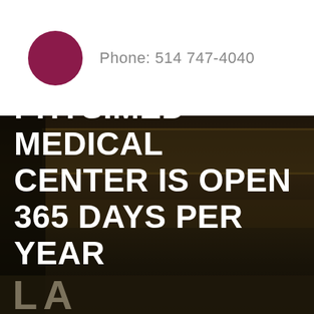[Figure (logo): Dark magenta/crimson filled circle logo mark]
Phone: 514 747-4040
[Figure (photo): Dark photo of a medical clinic exterior/signage, dimly lit, showing windows and building facade]
PHYSIMED MEDICAL CENTER IS OPEN 365 DAYS PER YEAR